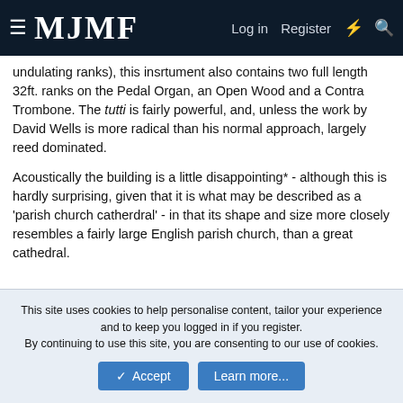MJMF — Log in  Register
undulating ranks), this insrtument also contains two full length 32ft. ranks on the Pedal Organ, an Open Wood and a Contra Trombone. The tutti is fairly powerful, and, unless the work by David Wells is more radical than his normal approach, largely reed dominated.
Acoustically the building is a little disappointing* - although this is hardly surprising, given that it is what may be described as a 'parish church catherdral' - in that its shape and size more closely resembles a fairly large English parish church, than a great cathedral.
The link to the new stoplist is:
http://www.npor.org.uk/cgi-bin/Rsearch.cgi?
This site uses cookies to help personalise content, tailor your experience and to keep you logged in if you register. By continuing to use this site, you are consenting to our use of cookies.